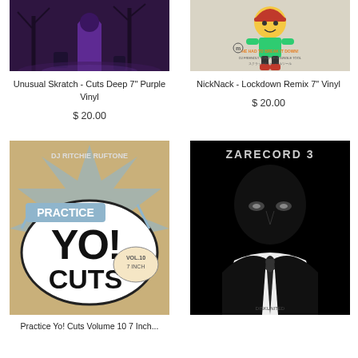[Figure (illustration): Album/vinyl cover art for Unusual Skratch – dark purple illustrated scene with gothic figures and trees]
Unusual Skratch - Cuts Deep 7" Purple Vinyl
$ 20.00
[Figure (illustration): Album/vinyl cover art for NickNack Lockdown Remix – cartoon character with orange cap on beige background with Japanese text and 'He Had To Break It Down! DJ Friendly Scratch & Jungle Tool']
NickNack - Lockdown Remix 7" Vinyl
$ 20.00
[Figure (illustration): Album cover for Practice Yo! Cuts Vol. 10 7 Inch by DJ Ritchie Ruftone – comic book style pop art with bold typography on tan background]
[Figure (illustration): Album cover for Zarecord 3 – black and white high contrast image of a figure in shadow]
Practice Yo! Cuts Volume 10 7 Inch...